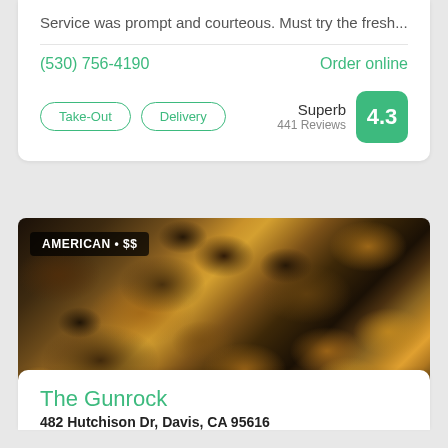Service was prompt and courteous. Must try the fresh...
(530) 756-4190
Order online
Take-Out
Delivery
Superb 441 Reviews 4.3
[Figure (photo): Close-up photo of American food dish — appears to be seasoned potatoes or home fries with meat chunks in a basket lined with paper, with a blue and white checkered basket visible]
AMERICAN • $$
The Gunrock
482 Hutchison Dr, Davis, CA 95616